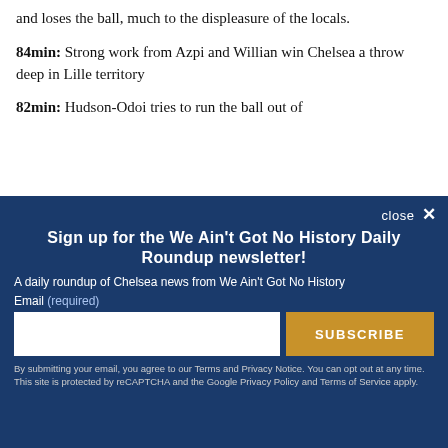and loses the ball, much to the displeasure of the locals.
84min: Strong work from Azpi and Willian win Chelsea a throw deep in Lille territory
82min: Hudson-Odoi tries to run the ball out of
[Figure (screenshot): Newsletter signup modal overlay with dark blue background. Title: 'Sign up for the We Ain't Got No History Daily Roundup newsletter!' Description: 'A daily roundup of Chelsea news from We Ain't Got No History'. Email input field and SUBSCRIBE button. Fine print about Terms and Privacy Notice.]